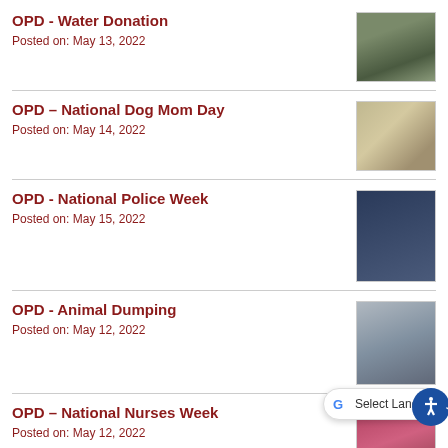OPD - Water Donation
Posted on: May 13, 2022
[Figure (photo): Photo thumbnail for OPD Water Donation post]
OPD – National Dog Mom Day
Posted on: May 14, 2022
[Figure (photo): Photo thumbnail for OPD National Dog Mom Day post]
OPD - National Police Week
Posted on: May 15, 2022
[Figure (photo): Photo thumbnail for OPD National Police Week post]
OPD - Animal Dumping
Posted on: May 12, 2022
[Figure (photo): Photo thumbnail for OPD Animal Dumping post]
OPD – National Nurses Week
Posted on: May 12, 2022
[Figure (photo): Photo thumbnail for OPD National Nurses Week post]